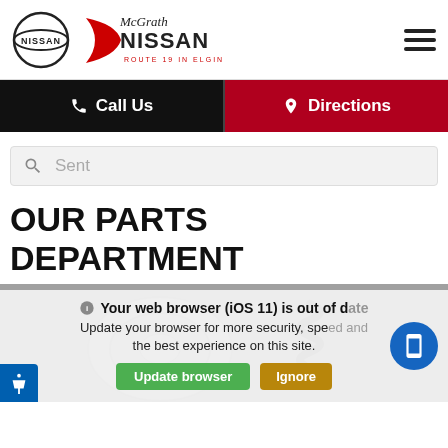[Figure (logo): Nissan logo circle with NISSAN text, and McGrath NISSAN dealership logo with red crescent, Route 19 in Elgin subtitle]
[Figure (other): Hamburger menu icon (three horizontal lines) in top right]
Call Us
Directions
Sent
OUR PARTS DEPARTMENT
[Figure (photo): Photo of car parts including a brake rotor and coil spring on grey background]
Your web browser (iOS 11) is out of date. Update your browser for more security, speed and the best experience on this site.
Update browser
Ignore